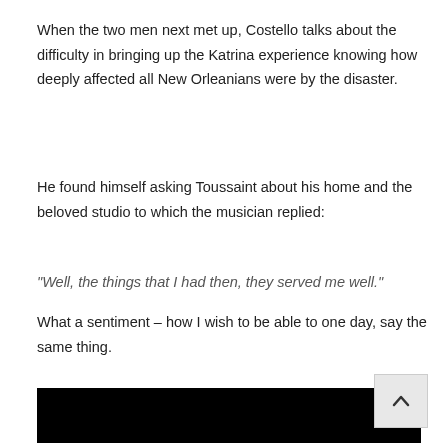When the two men next met up, Costello talks about the difficulty in bringing up the Katrina experience knowing how deeply affected all New Orleanians were by the disaster.
He found himself asking Toussaint about his home and the beloved studio to which the musician replied:
“Well, the things that I had then, they served me well.”
What a sentiment – how I wish to be able to one day, say the same thing.
[Figure (screenshot): YouTube video thumbnail showing Elvis Costello avatar and title 'Elvis Costello, Allen Toussaint ...' with three-dot menu icon on black background]